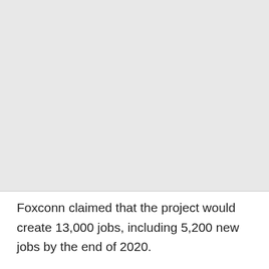[Figure (photo): Large grey/blank image area taking up the upper portion of the page]
Foxconn claimed that the project would create 13,000 jobs, including 5,200 new jobs by the end of 2020.